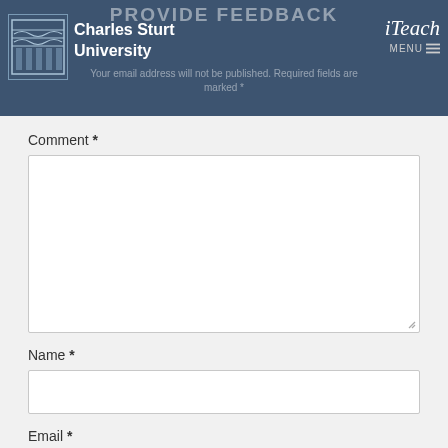PROVIDE FEEDBACK
Your email address will not be published. Required fields are marked *
Comment *
Name *
Email *